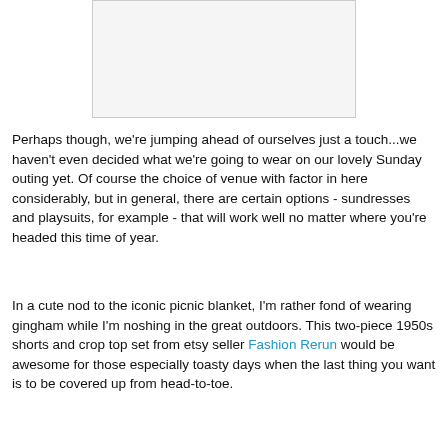[Figure (photo): A blank/white image placeholder with a light border]
Perhaps though, we're jumping ahead of ourselves just a touch...we haven't even decided what we're going to wear on our lovely Sunday outing yet. Of course the choice of venue with factor in here considerably, but in general, there are certain options - sundresses and playsuits, for example - that will work well no matter where you're headed this time of year.
In a cute nod to the iconic picnic blanket, I'm rather fond of wearing gingham while I'm noshing in the great outdoors. This two-piece 1950s shorts and crop top set from etsy seller Fashion Rerun would be awesome for those especially toasty days when the last thing you want is to be covered up from head-to-toe.